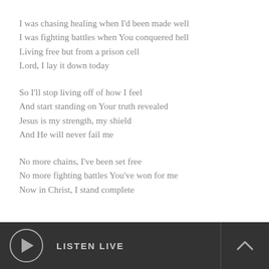I was chasing healing when I'd been made well
I was fighting battles when You conquered hell
Living free but from a prison cell
Lord, I lay it down today
So I'll stop living off of how I feel
And start standing on Your truth revealed
Jesus is my strength, my shield
And He will never fail me
No more chains, I've been set free
No more fighting battles You've won for me
Now in Christ, I stand complete
LISTEN LIVE